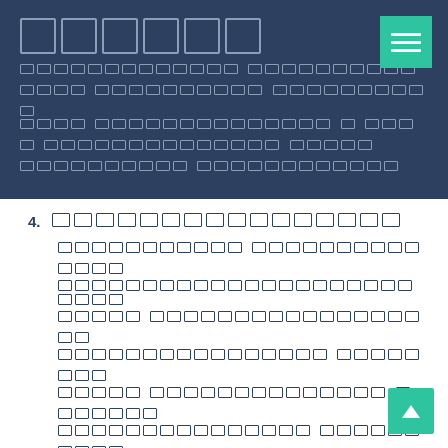[Title boxes with redacted/obscured text in header bar]
4. [Redacted heading] — body text containing redacted content including 'Search Engine' visible text
5. [Redacted heading — partially visible at bottom]